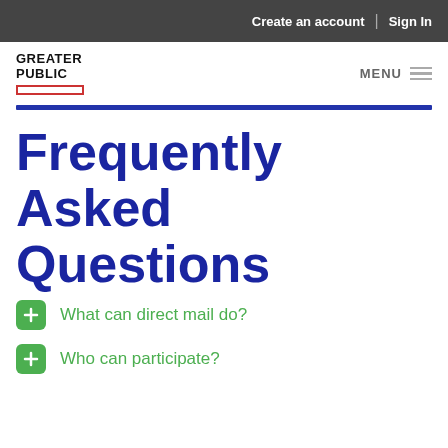Create an account | Sign In
[Figure (logo): Greater Public logo with red underline box and hamburger menu]
Frequently Asked Questions
What can direct mail do?
Who can participate?